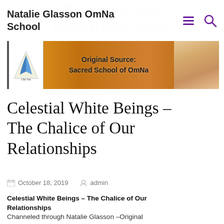Natalie Glasson OmNa School
[Figure (photo): Banner image with OmNa logo on left, candles and warm light in background, text 'Original Source: Sacred School of OmNa' in center, woman with curly hair on right]
Celestial White Beings – The Chalice of Our Relationships
October 18, 2019   admin
Celestial White Beings – The Chalice of Our Relationships
Channeled through Natalie Glasson –Original Source: Sacred School of OmNa